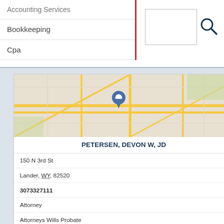Accounting Services
Bookkeeping
Cpa
[Figure (screenshot): Search input box with search icon]
[Figure (map): Street map showing Lander, WY area with a location pin marker]
PETERSEN, DEVON W, JD
150 N 3rd St
Lander, WY, 82520
3073327111
Attorney
Attorneys Wills Probate
Civil Attorneys
Female Attorneys
Law Firms
[Figure (map): Street map showing location with a pin marker]
PETERSON, CHRISTOPHER, DDS